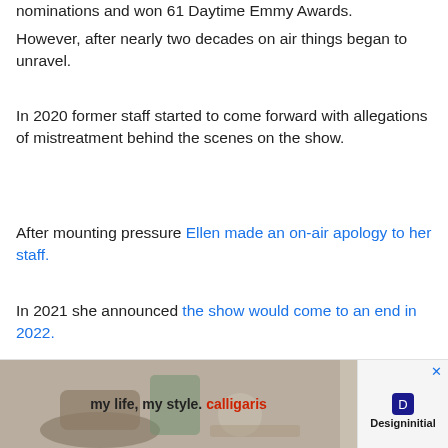nominations and won 61 Daytime Emmy Awards.
However, after nearly two decades on air things began to unravel.
In 2020 former staff started to come forward with allegations of mistreatment behind the scenes on the show.
After mounting pressure Ellen made an on-air apology to her staff.
In 2021 she announced the show would come to an end in 2022.
The ‘Farewell’ season draws to a close
Dubbed...
[Figure (other): Advertisement banner: 'my life, my style. calligaris' with furniture photo and Designinitial logo, with close button X]